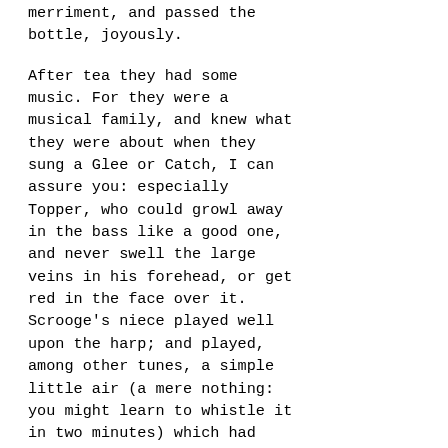merriment, and passed the bottle, joyously.

After tea they had some music. For they were a musical family, and knew what they were about when they sung a Glee or Catch, I can assure you: especially Topper, who could growl away in the bass like a good one, and never swell the large veins in his forehead, or get red in the face over it. Scrooge's niece played well upon the harp; and played, among other tunes, a simple little air (a mere nothing: you might learn to whistle it in two minutes) which had been familiar to the child who fetched Scrooge from the boarding-school, as he had been reminded by the Ghost of Christmas Past. When this